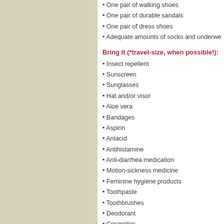One pair of walking shoes
One pair of durable sandals
One pair of dress shoes
Adequate amounts of socks and underwear
Bring It (*travel-size, when possible!):
Insect repellent
Sunscreen
Sunglasses
Hat and/or visor
Aloe vera
Bandages
Aspirin
Antacid
Antihistamine
Anti-diarrhea medication
Motion-sickness medicine
Feminine hygiene products
Toothpaste
Toothbrushes
Deodorant
Cosmetics
Make-up remover
Cotton balls and swabs
Comb/brush